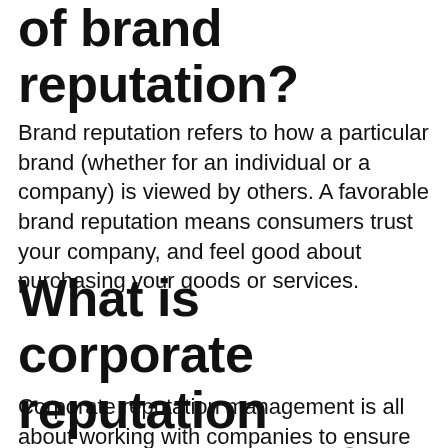of brand reputation?
Brand reputation refers to how a particular brand (whether for an individual or a company) is viewed by others. A favorable brand reputation means consumers trust your company, and feel good about purchasing your goods or services.
What is corporate reputation management?
Corporate reputation management is all about working with companies to ensure they are doing everything they can to attain their desired reputation, without self-